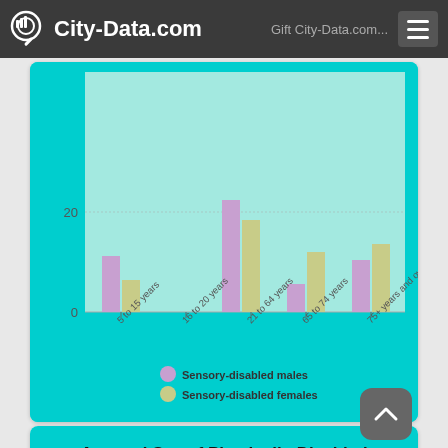City-Data.com
[Figure (grouped-bar-chart): Age and Sex of Sensory-Disabled Noninstitutionalized Residents]
Age and Sex of Physically-Disabled Noninstitutionalized Residents
Zip code 18618